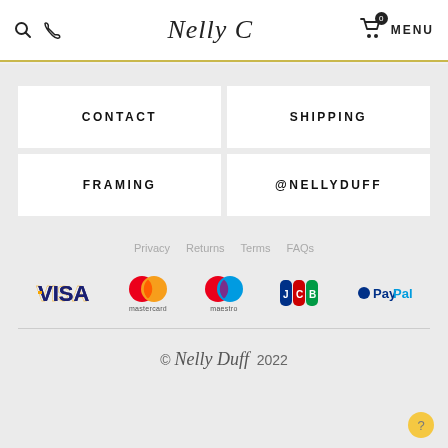Nelly C | 0 MENU
CONTACT
SHIPPING
FRAMING
@NELLYDUFF
Privacy   Returns   Terms   FAQs
[Figure (logo): Payment logos: VISA, Mastercard, Maestro, JCB, PayPal]
© Nelly Duff 2022